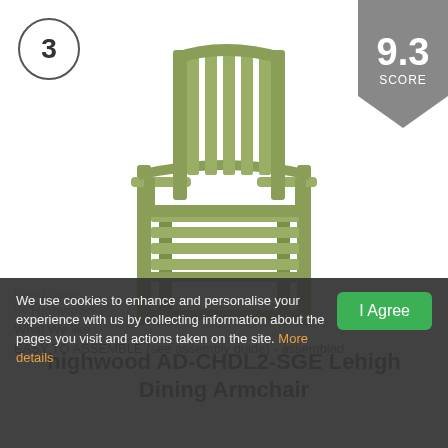3
[Figure (other): Score badge showing 9.3 SCORE in a grey pentagon/chevron shape]
[Figure (photo): Green outdoor dining armchair (highwood AD-CHDL2-SGE Lehigh) shown at slight angle on white background]
highwood AD-CHDL2-SGE Lehigh Dining Armchair
Dried Sage
by Highwood
What We like
EASY TO ASSEMBLE (see assembly guide) - assembled
We use cookies to enhance and personalise your experience with us by collecting information about the pages you visit and actions taken on the site. More details